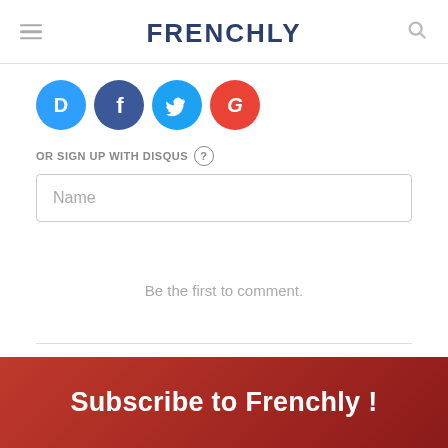FRENCHLY
[Figure (logo): Social login icons: Disqus (blue D), Facebook (dark blue f), Twitter (light blue bird), Google (red G)]
OR SIGN UP WITH DISQUS ?
Name
Be the first to comment.
Subscribe  Add Disqus  Do Not Sell My Data  DISQUS
Subscribe to Frenchly !